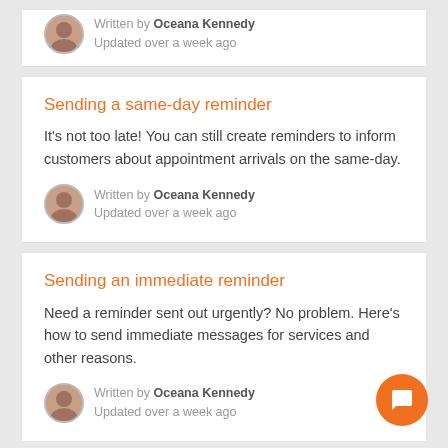Written by Oceana Kennedy
Updated over a week ago
Sending a same-day reminder
It's not too late! You can still create reminders to inform customers about appointment arrivals on the same-day.
Written by Oceana Kennedy
Updated over a week ago
Sending an immediate reminder
Need a reminder sent out urgently? No problem. Here's how to send immediate messages for services and other reasons.
Written by Oceana Kennedy
Updated over a week ago